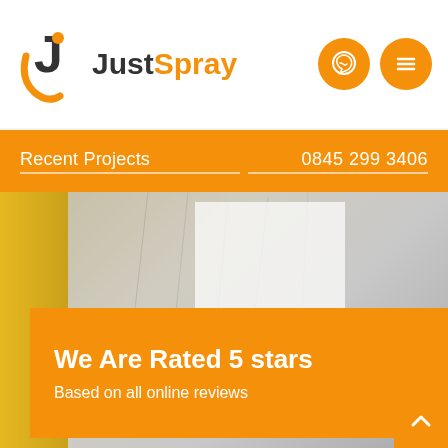JustSpray
Recent Projects
0845 299 3406
[Figure (photo): A photo showing a wall surface with a white panel, yellow curtain on the left side, and a hand visible at the bottom right corner]
We Are Rated 5 stars
Based on all online reviews